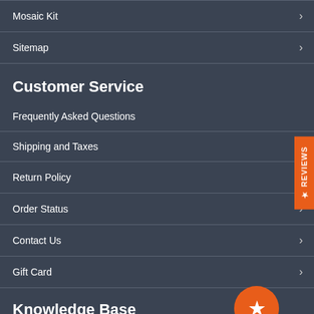Mosaic Kit
Sitemap
Customer Service
Frequently Asked Questions
Shipping and Taxes
Return Policy
Order Status
Contact Us
Gift Card
Knowledge Base
History of Mosaics